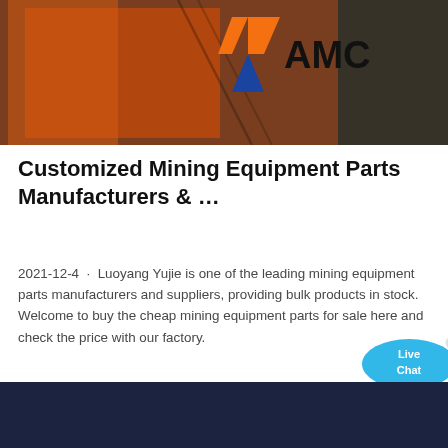[Figure (photo): Industrial mining equipment photo with orange crane/machinery visible. AMC logo (orange and blue geometric shape with text 'AMC') overlaid in upper right area of photo.]
Customized Mining Equipment Parts Manufacturers & ...
2021-12-4 · Luoyang Yujie is one of the leading mining equipment parts manufacturers and suppliers, providing bulk products in stock. Welcome to buy the cheap mining equipment parts for sale here and check the price with our factory.
Read More